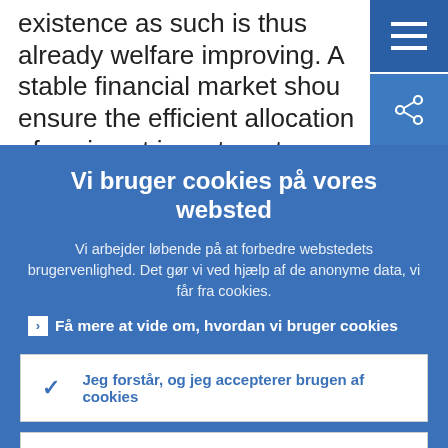existence as such is thus already welfare improving. A stable financial market shou ensure the efficient allocation of savings to investment opportunities. A stable financial
Vi bruger cookies på vores websted
Vi arbejder løbende på at forbedre webstedets brugervenlighed. Det gør vi ved hjælp af de anonyme data, vi får fra cookies.
Få mere at vide om, hvordan vi bruger cookies
Jeg forstår, og jeg accepterer brugen af cookies
Jeg accepterer ikke brugen af cookies